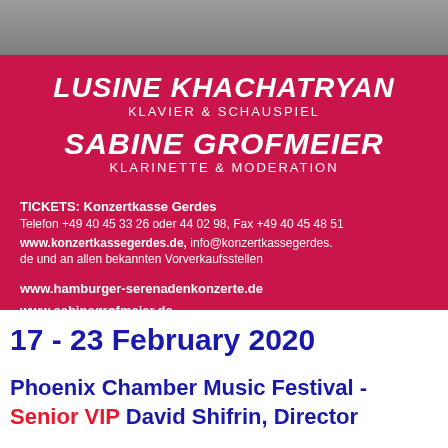[Figure (photo): Concert poster with photo of performers at top, magenta/crimson background with performer names and ticket info]
LUSINE KHACHATRYAN
KLAVIER & SCHAUSPIEL
SABINE GROFMEIER
KLARINETTE & MODERATION
TICKETS: Konzertkasse Gerdes
Telefon +49 40 45 33 26 oder 44 02 98, Fax +49 40 45 48 51
www.konzertkassegerdes.de, info@konzertkassegerdes.de und an allen bekannten Vorverkaufsstellen
www.hamburger-serenadenkonzerte.de
www.sabinegrofmeier.de
17 - 23 February 2020
Phoenix Chamber Music Festival - Senior VIP David Shifrin, Director